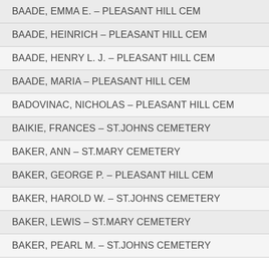| BAADE, EMMA E. – PLEASANT HILL CEM |
| BAADE, HEINRICH – PLEASANT HILL CEM |
| BAADE, HENRY L. J. – PLEASANT HILL CEM |
| BAADE, MARIA – PLEASANT HILL CEM |
| BADOVINAC, NICHOLAS – PLEASANT HILL CEM |
| BAIKIE, FRANCES – ST.JOHNS CEMETERY |
| BAKER, ANN – ST.MARY CEMETERY |
| BAKER, GEORGE P. – PLEASANT HILL CEM |
| BAKER, HAROLD W. – ST.JOHNS CEMETERY |
| BAKER, LEWIS – ST.MARY CEMETERY |
| BAKER, PEARL M. – ST.JOHNS CEMETERY |